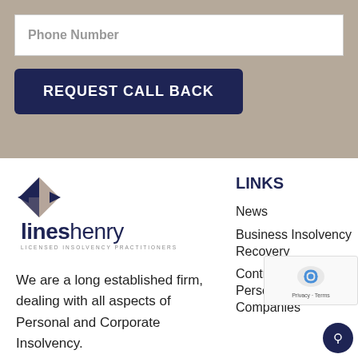Phone Number
REQUEST CALL BACK
[Figure (logo): Lines Henry Licensed Insolvency Practitioners logo with angular arrow/diamond shape in navy and tan]
We are a long established firm, dealing with all aspects of Personal and Corporate Insolvency.
LINKS
News
Business Insolvency Recovery
Contractors and Personal Service Companies